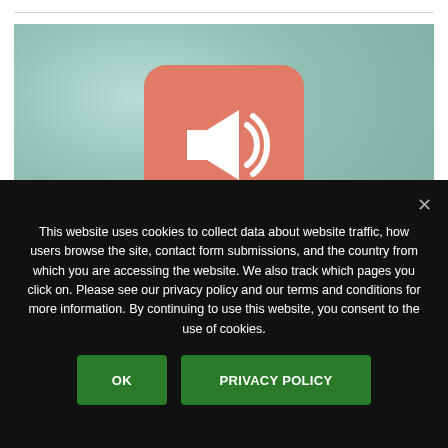[Figure (illustration): A megaphone/loudspeaker icon in white on a salmon/coral rounded-rectangle card, set against a muted teal patterned background.]
This website uses cookies to collect data about website traffic, how users browse the site, contact form submissions, and the country from which you are accessing the website. We also track which pages you click on. Please see our privacy policy and our terms and conditions for more information. By continuing to use this website, you consent to the use of cookies.